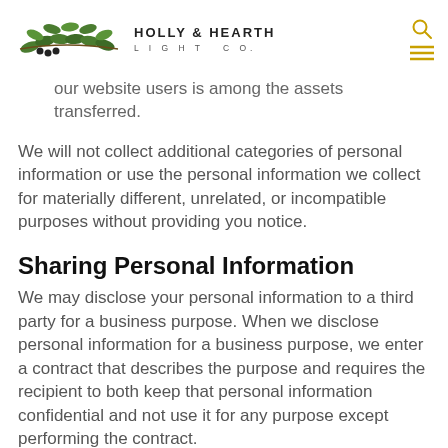HOLLY & HEARTH LIGHT CO.
our website users is among the assets transferred.
We will not collect additional categories of personal information or use the personal information we collect for materially different, unrelated, or incompatible purposes without providing you notice.
Sharing Personal Information
We may disclose your personal information to a third party for a business purpose. When we disclose personal information for a business purpose, we enter a contract that describes the purpose and requires the recipient to both keep that personal information confidential and not use it for any purpose except performing the contract.